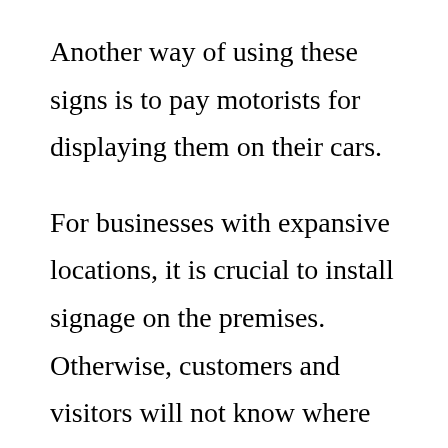Another way of using these signs is to pay motorists for displaying them on their cars.

For businesses with expansive locations, it is crucial to install signage on the premises. Otherwise, customers and visitors will not know where they're going, which could lead to a poor sales experience. In addition to these advantages, business signs help build a sense of community and encourage people to interact with one another. Hence, despite its cost, the importance of business signs cannot